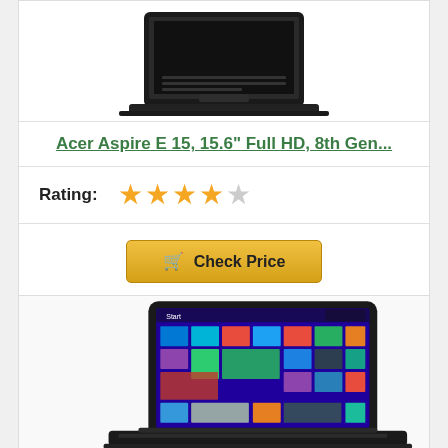[Figure (photo): Acer laptop computer shown from above, black keyboard and body]
Acer Aspire E 15, 15.6" Full HD, 8th Gen...
Rating: ★★★★☆
Check Price
[Figure (photo): ASUS tablet/2-in-1 device showing Windows 8 Start screen with colorful tiles, with keyboard base visible below]